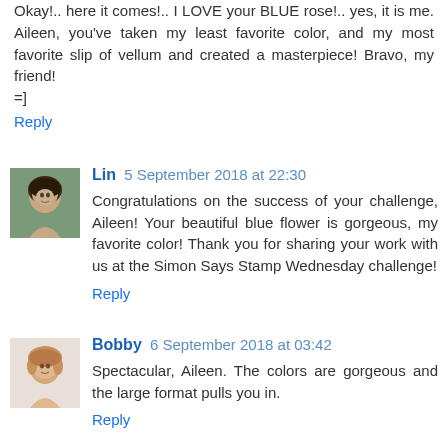Okay!.. here it comes!.. I LOVE your BLUE rose!.. yes, it is me. Aileen, you've taken my least favorite color, and my most favorite slip of vellum and created a masterpiece! Bravo, my friend!
=]
Reply
Lin 5 September 2018 at 22:30
Congratulations on the success of your challenge, Aileen! Your beautiful blue flower is gorgeous, my favorite color! Thank you for sharing your work with us at the Simon Says Stamp Wednesday challenge!
Reply
Bobby 6 September 2018 at 03:42
Spectacular, Aileen. The colors are gorgeous and the large format pulls you in.
Reply